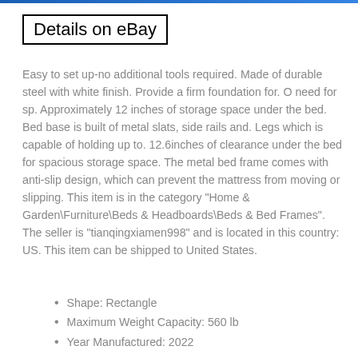Details on eBay
Easy to set up-no additional tools required. Made of durable steel with white finish. Provide a firm foundation for. O need for sp. Approximately 12 inches of storage space under the bed. Bed base is built of metal slats, side rails and. Legs which is capable of holding up to. 12.6inches of clearance under the bed for spacious storage space. The metal bed frame comes with anti-slip design, which can prevent the mattress from moving or slipping. This item is in the category "Home & Garden\Furniture\Beds & Headboards\Beds & Bed Frames". The seller is "tianqingxiamen998" and is located in this country: US. This item can be shipped to United States.
Shape: Rectangle
Maximum Weight Capacity: 560 lb
Year Manufactured: 2022